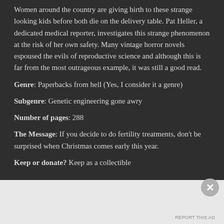Women around the country are giving birth to these strange looking kids before both die on the delivery table. Pat Heller, a dedicated medical reporter, investigates this strange phenomenon at the risk of her own safety. Many vintage horror novels espoused the evils of reproductive science and although this is far from the most outrageous example, it was still a good read.
Genre: Paperbacks from hell (Yes, I consider it a genre)
Subgenre: Genetic engineering gone awry
Number of pages: 288
The Message: If you decide to do fertility treatments, don't be surprised when Christmas comes early this year.
Keep or donate? Keep as a collectible